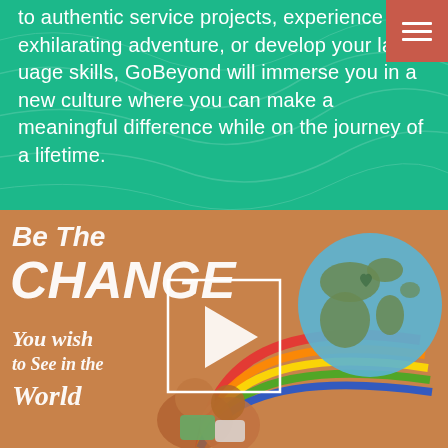to authentic service projects, experience exhilarating adventure, or develop your language skills, GoBeyond will immerse you in a new culture where you can make a meaningful difference while on the journey of a lifetime.
[Figure (photo): A painted mural on an orange wall reading 'Be The Change You wish to See in the World' with a painted globe and rainbow, in front of which children are smiling. A white-bordered play button is overlaid in the center of the image.]